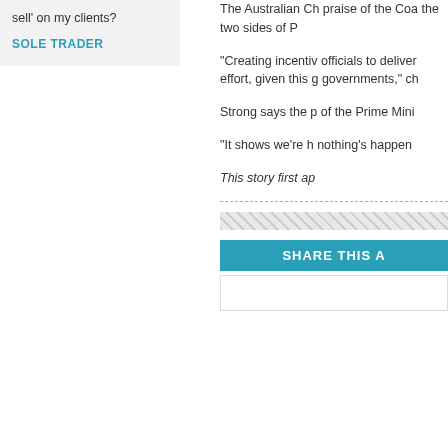sell' on my clients?
SOLE TRADER
The Australian Ch praise of the Coa the two sides of P
"Creating incentiv officials to deliver effort, given this g governments," ch
Strong says the p of the Prime Mini
"It shows we're h nothing's happen
This story first ap